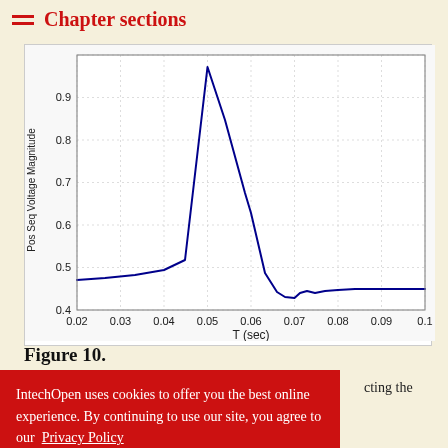Chapter sections
[Figure (continuous-plot): Line chart showing Pos Seq Voltage Magnitude vs T (sec). The line starts near 0.97 at t=0.05, drops steeply to about 0.43 at t=0.07, then levels off and oscillates slightly around 0.45 from t=0.07 to t=0.10.]
Figure 10.
cting the
out from (2) ge magnitude which indicates the nearest area to the